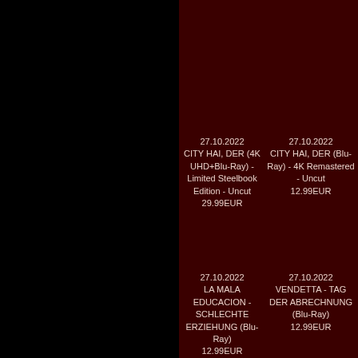27.10.2022
CITY HAI, DER (4K UHD+Blu-Ray) - Limited Steelbook Edition - Uncut
29.99EUR
27.10.2022
CITY HAI, DER (Blu-Ray) - 4K Remastered - Uncut
12.99EUR
27.10.2022
LA MALA EDUCACION - SCHLECHTE ERZIEHUNG (Blu-Ray)
12.99EUR
27.10.2022
VENDETTA - TAG DER ABRECHNUNG (Blu-Ray)
12.99EUR